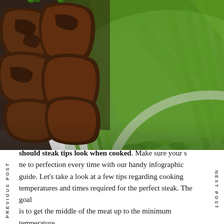[Figure (photo): A white plate with seared steak tips and a bunch of fresh green asparagus stalks on a wooden surface]
PREVIOUS POST
NEXT POST
should steak tips look when cooked. Make sure your steak is done to perfection every time with our handy infographic guide. Let's take a look at a few tips regarding cooking temperatures and times required for the perfect steak. The goal is to get the middle of the meat up to the minimum temperature consistent with food safety, which the u.s.
The sides should be a rich brown color and the top and bottom